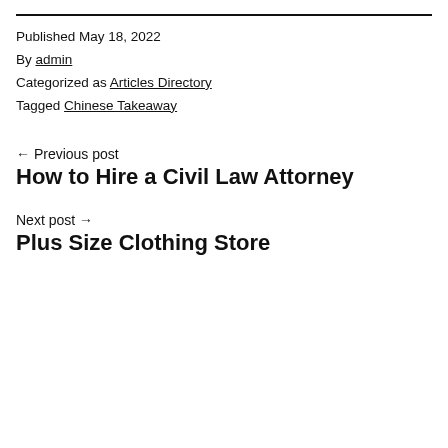Published May 18, 2022
By admin
Categorized as Articles Directory
Tagged Chinese Takeaway
← Previous post
How to Hire a Civil Law Attorney
Next post →
Plus Size Clothing Store